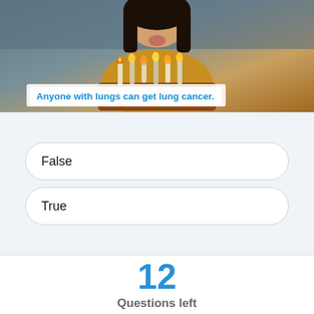[Figure (photo): A young woman with dark hair blowing out candles on a birthday cake, wearing a yellow/gold sweater. The image has a text overlay.]
Anyone with lungs can get lung cancer.
False
True
12
Questions left